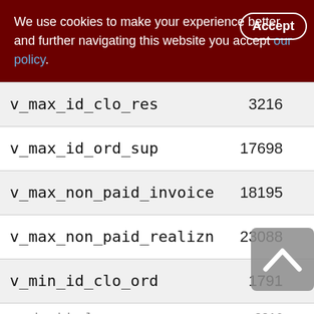We use cookies to make your experience better. By accepting and further navigating this website you accept our policy.
| Name | Value1 | Value2 |
| --- | --- | --- |
| v_max_id_clo_res | 3216 | 32… |
| v_max_id_ord_sup | 17698 | 176… |
| v_max_non_paid_invoice | 18195 | 181… |
| v_max_non_paid_realizn | 23088 | 230… |
| v_min_id_clo_ord | 1791 | 177… |
| v_min_id_clo… | 3216 | 32… |